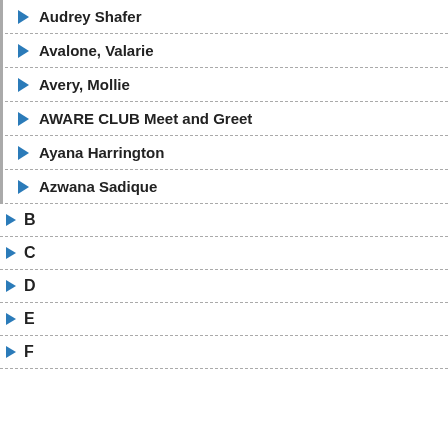Audrey Shafer
Avalone, Valarie
Avery, Mollie
AWARE CLUB Meet and Greet
Ayana Harrington
Azwana Sadique
B
C
D
E
F